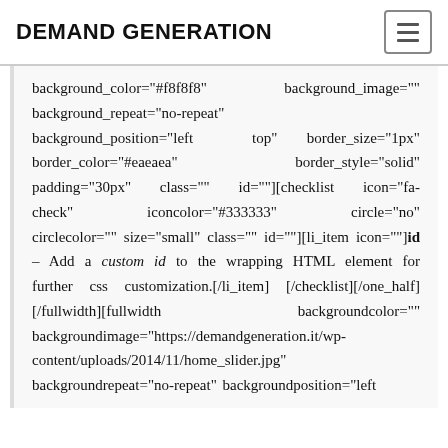DEMAND GENERATION
background_color="#f8f8f8"  background_image="" background_repeat="no-repeat" background_position="left  top"  border_size="1px" border_color="#eaeaea"         border_style="solid" padding="30px"  class=""  id=""][checklist  icon="fa-check"         iconcolor="#333333"         circle="no" circlecolor=""  size="small"  class=""  id=""][li_item icon=""]id – Add a custom id to the wrapping HTML element for further css customization.[/li_item][/checklist][/one_half][/fullwidth][fullwidth backgroundcolor="" backgroundimage="https://demandgeneration.it/wp-content/uploads/2014/11/home_slider.jpg" backgroundrepeat="no-repeat" backgroundposition="left        top"